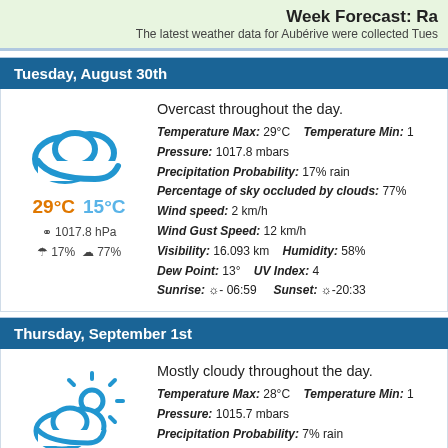Week Forecast: Ra
The latest weather data for Aubérive were collected Tues
Tuesday, August 30th
[Figure (illustration): Blue cloud icon (overcast weather symbol)]
29°C  15°C
⊕ 1017.8 hPa
☂ 17%  ☁ 77%
Overcast throughout the day.
Temperature Max: 29°C    Temperature Min: 1
Pressure: 1017.8 mbars
Precipitation Probability: 17% rain
Percentage of sky occluded by clouds: 77%
Wind speed: 2 km/h
Wind Gust Speed: 12 km/h
Visibility: 16.093 km    Humidity: 58%
Dew Point: 13°    UV Index: 4
Sunrise: ☼ 06:59    Sunset: ☼ 20:33
Thursday, September 1st
[Figure (illustration): Partly cloudy with sun icon (mostly cloudy weather symbol)]
Mostly cloudy throughout the day.
Temperature Max: 28°C    Temperature Min: 1
Pressure: 1015.7 mbars
Precipitation Probability: 7% rain